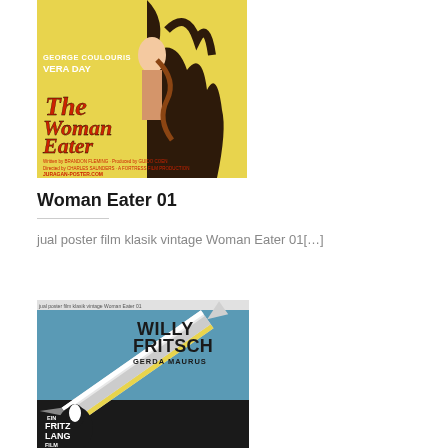[Figure (photo): Movie poster for 'The Woman Eater' featuring George Coulouris and Vera Day, yellow background with illustrated monster and woman]
Woman Eater 01
jual poster film klasik vintage Woman Eater 01[…]
[Figure (photo): Classic film poster for a Fritz Lang film featuring Willy Fritsch and Gerda Maurus, art deco style with rocket/missile illustration on blue and black background]